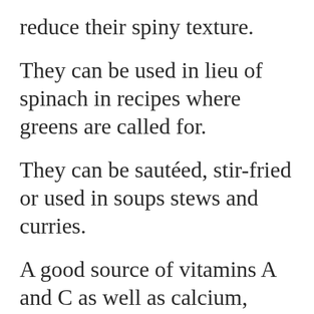reduce their spiny texture.
They can be used in lieu of spinach in recipes where greens are called for.
They can be sautéed, stir-fried or used in soups stews and curries.
A good source of vitamins A and C as well as calcium, fiber, protein and iron makes them great for strong bones and good digestion.